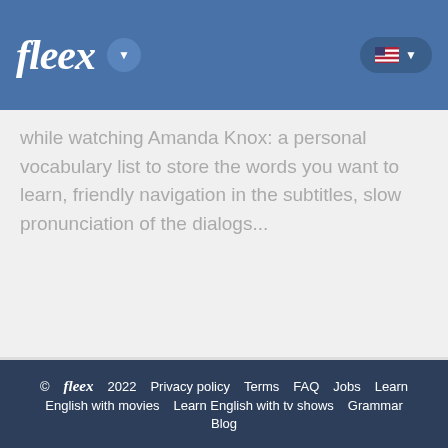fleex
while watching Amanda Knox: a personal vocabulary list to store the words you want to learn, friendly navigation in the subtitles, slow pronunciation of the dialogs...
See other movies in the same categories:
Documentary   Troie  One Direction: This Is Us  Citizenfour  L'orque tueuse  Senna  The Cove - La Baie de la honte  Sugar Man  Jiro Dreams of Sushi  Home  The Internet's Own Boy: L'histoire d'Aaron Swartz  Faites le mur !
© fleex 2022  Privacy policy  Terms  FAQ  Jobs  Learn English with movies  Learn English with tv shows  Grammar  Blog